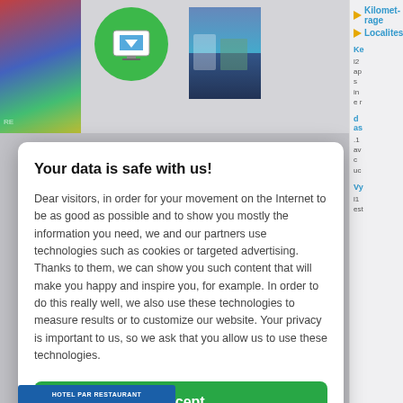[Figure (screenshot): Background website page with colorful left strip, green icon, photo thumbnail, and right sidebar with navigation links]
Your data is safe with us!
Dear visitors, in order for your movement on the Internet to be as good as possible and to show you mostly the information you need, we and our partners use technologies such as cookies or targeted advertising. Thanks to them, we can show you such content that will make you happy and inspire you, for example. In order to do this really well, we also use these technologies to measure results or to customize our website. Your privacy is important to us, so we ask that you allow us to use these technologies.
Accept
Deny
Set